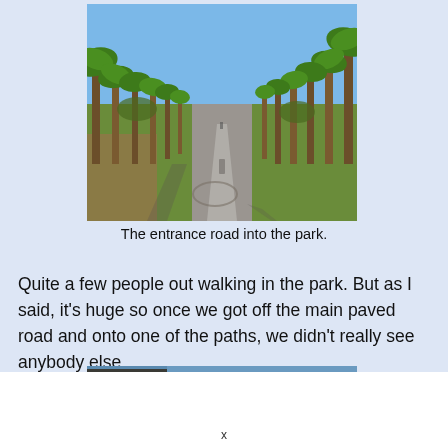[Figure (photo): A paved entrance road lined on both sides with tall palm trees leading into a park. Clear blue sky, green grass and olive trees visible on either side.]
The entrance road into the park.
Quite a few people out walking in the park. But as I said, it's huge so once we got off the main paved road and onto one of the paths, we didn't really see anybody else.
[Figure (photo): Partial view of another park photo, cropped at the bottom of the page.]
x